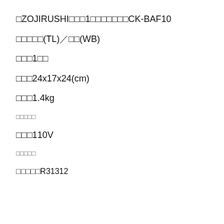□ZOJIRUSHI□□□1□□□□□□□CK-BAF10
□□□□□(TL)／□□(WB)
□□□1□□
□□□24x17x24(cm)
□□□1.4kg
□□□□□
□□□110V
□□□□□
□□□□□R31312